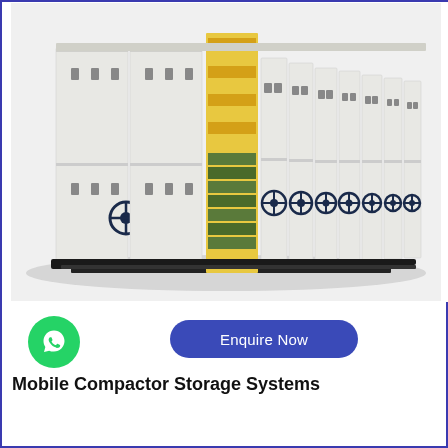[Figure (photo): Photo of Mobile Compactor Storage Systems - large white metal shelving/filing units on tracks, one unit open showing yellow and green folders inside, units have steering wheel handles]
Enquire Now
[Figure (logo): WhatsApp logo button - green circle with white WhatsApp speech bubble icon]
Mobile Compactor Storage Systems
| Country of Origin | Made in India |